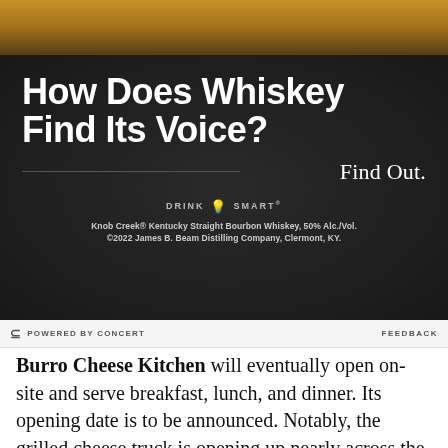[Figure (photo): Advertisement for Knob Creek Kentucky Straight Bourbon Whiskey on a dark textured background. Headline reads 'How Does Whiskey Find Its Voice?' with 'Find Out.' tagline, Drink Smart logo, and legal text.]
POWERED BY CONCERT   FEEDBACK
Burro Cheese Kitchen will eventually open on-site and serve breakfast, lunch, and dinner. Its opening date is to be announced. Notably, the grilled cheese truck is opening up nearly across the street from similar-sounding El Burro